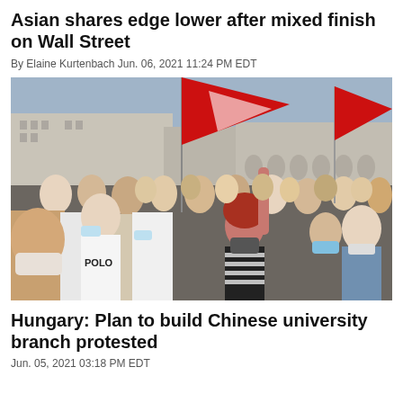Asian shares edge lower after mixed finish on Wall Street
By Elaine Kurtenbach Jun. 06, 2021 11:24 PM EDT
[Figure (photo): Large crowd of protesters in a city square, many wearing masks, waving red flags with a cross/hammer symbol. Buildings visible in the background. A woman with red hair in a striped shirt raises her hand holding a flag.]
Hungary: Plan to build Chinese university branch protested
Jun. 05, 2021 03:18 PM EDT